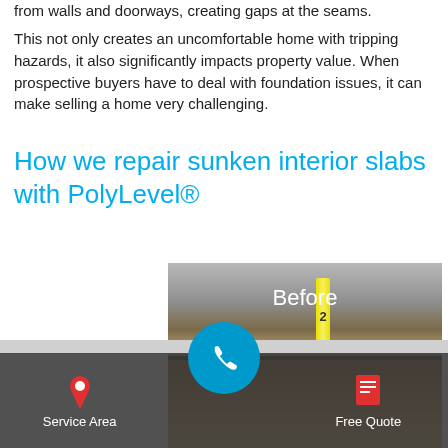from walls and doorways, creating gaps at the seams.
This not only creates an uncomfortable home with tripping hazards, it also significantly impacts property value. When prospective buyers have to deal with foundation issues, it can make selling a home very challenging.
How we repair sunken interior slabs with PolyLevel®
[Figure (photo): Before and after photo of a sunken interior slab with a tape measure showing the gap, overlaid with a phone/call circle button and a bottom navigation bar showing Service Area and Free Quote icons.]